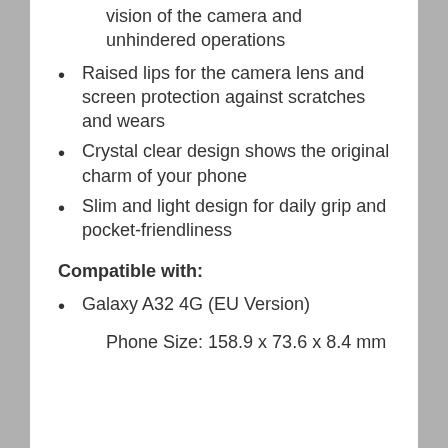vision of the camera and unhindered operations
Raised lips for the camera lens and screen protection against scratches and wears
Crystal clear design shows the original charm of your phone
Slim and light design for daily grip and pocket-friendliness
Compatible with:
Galaxy A32 4G (EU Version)
Phone Size: 158.9 x 73.6 x 8.4 mm